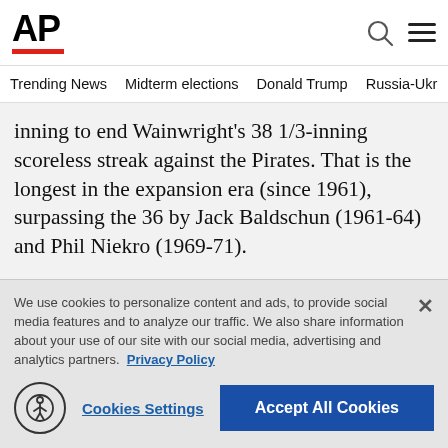AP
Trending News  Midterm elections  Donald Trump  Russia-Ukr
inning to end Wainwright's 38 1/3-inning scoreless streak against the Pirates. That is the longest in the expansion era (since 1961), surpassing the 36 by Jack Baldschun (1961-64) and Phil Niekro (1969-71).
“Sometimes you just feel comfortable against certain
We use cookies to personalize content and ads, to provide social media features and to analyze our traffic. We also share information about your use of our site with our social media, advertising and analytics partners. Privacy Policy
Cookies Settings  Accept All Cookies